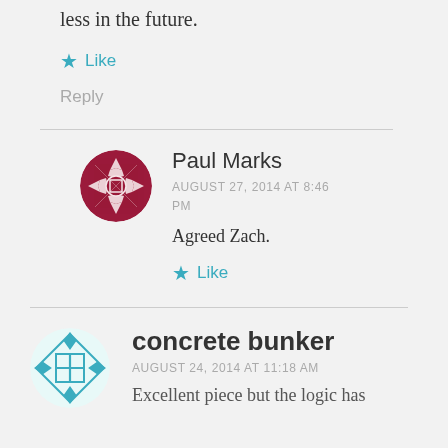less in the future.
★ Like
Reply
Paul Marks
AUGUST 27, 2014 AT 8:46 PM
Agreed Zach.
★ Like
concrete bunker
AUGUST 24, 2014 AT 11:18 AM
Excellent piece but the logic has